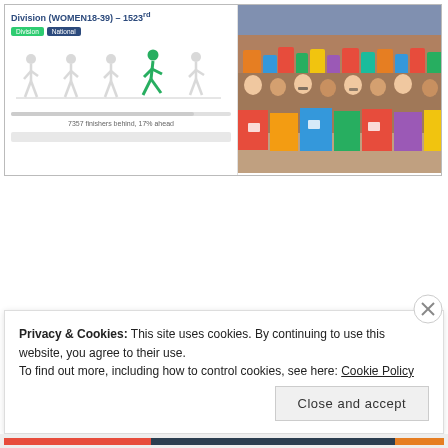[Figure (screenshot): Running app screenshot showing Division (WOMEN18-39) - 1523rd ranking with runner silhouettes and '7357 finishers behind, 17% ahead' text, alongside a photo of a large crowd of marathon runners]
Privacy & Cookies: This site uses cookies. By continuing to use this website, you agree to their use. To find out more, including how to control cookies, see here: Cookie Policy
Close and accept